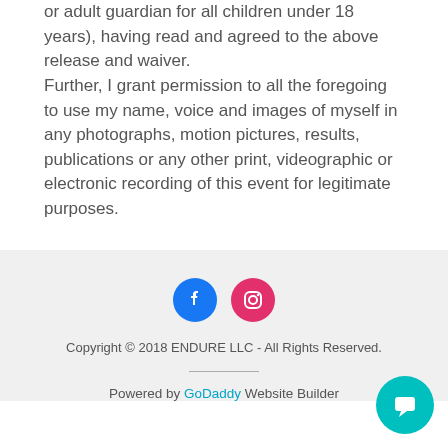or adult guardian for all children under 18 years), having read and agreed to the above release and waiver.
Further, I grant permission to all the foregoing to use my name, voice and images of myself in any photographs, motion pictures, results, publications or any other print, videographic or electronic recording of this event for legitimate purposes.
[Figure (illustration): Social media icons: Facebook (blue circle) and Instagram (pink circle)]
Copyright © 2018 ENDURE LLC - All Rights Reserved.
Powered by GoDaddy Website Builder